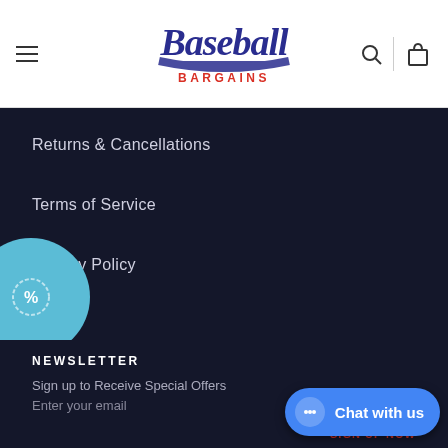Baseball Bargains – Navigation header with hamburger menu, logo, search and cart icons
Returns & Cancellations
Terms of Service
Privacy Policy
Contact Us
NEWSLETTER
Sign up to Receive Special Offers
Enter your email
SIGN UP NOW
Chat with us